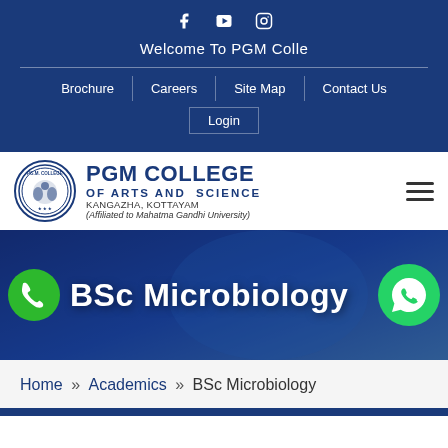f  ▶  ○  Welcome To PGM College
Brochure
Careers
Site Map
Contact Us
Login
[Figure (logo): PGM College of Arts and Science logo — circular emblem with college name, KANGAZHA, KOTTAYAM, Affiliated to Mahatma Gandhi University]
BSc Microbiology
Home » Academics » BSc Microbiology